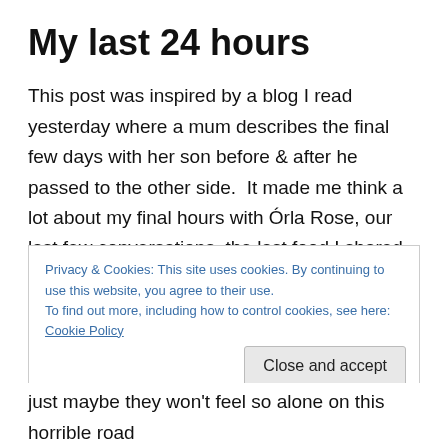My last 24 hours
This post was inspired by a blog I read yesterday where a mum describes the final few days with her son before & after he passed to the other side.  It made me think a lot about my final hours with Órla Rose, our last few conversations, the last food I shared with her and our last hugs & kisses.  I can already tell by the excruciating pain in my heart and the tears flowing down my cheeks that this is going to be a difficult post to write and may take some
Privacy & Cookies: This site uses cookies. By continuing to use this website, you agree to their use.
To find out more, including how to control cookies, see here: Cookie Policy
just maybe they won't feel so alone on this horrible road